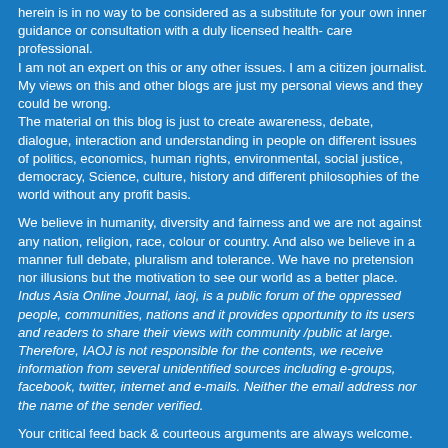herein is in no way to be considered as a substitute for your own inner guidance or consultation with a duly licensed health- care professional.
I am not an expert on this or any other issues. I am a citizen journalist. My views on this and other blogs are just my personal views and they could be wrong.
The material on this blog is just to create awareness, debate, dialogue, interaction and understanding in people on different issues of politics, economics, human rights, environmental, social justice, democracy, Science, culture, history and different philosophies of the world without any profit basis.
We believe in humanity, diversity and fairness and we are not against any nation, religion, race, colour or country. And also we believe in a manner full debate, pluralism and tolerance. We have no pretension nor illusions but the motivation to see our world as a better place. Indus Asia Online Journal, iaoj, is a public forum of the oppressed people, communities, nations and it provides opportunity to its users and readers to share their views with community /public at large. Therefore, IAOJ is not responsible for the contents, we receive information from several unidentified sources including e-groups, facebook, twitter, internet and e-mails. Neither the email address nor the name of the sender verified.
Your critical feed back & courteous arguments are always welcome.